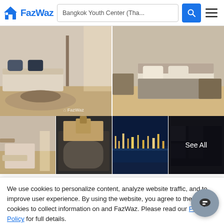FazWaz — Bangkok Youth Center (Tha...
[Figure (photo): Property listing photo grid showing living room, bedroom, bathroom, pool, and city view images for Mayfair Place Victory Monuments condo]
1 Bedroom Condo for sale at Mayfair Place Victory Monuments
We use cookies to personalize content, analyze website traffic, and to improve user experience. By using the website, you agree to the use of cookies to collect information on and FazWaz. Please read our Privacy Policy for full details.
Request Details | Schedule Viewing